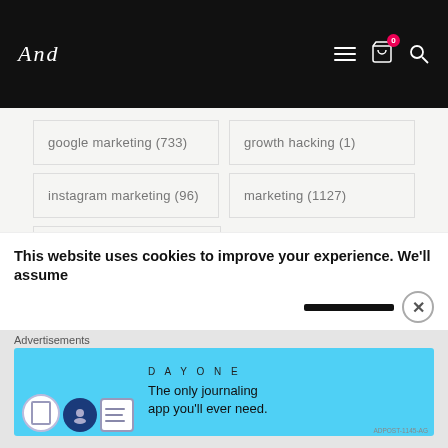And (logo) — navigation header with cart and search icons
google marketing (733)
growth hacking (1)
instagram marketing (96)
marketing (1127)
music promotion (711)
pinterest marketing (27)
software (391)
uncategorized (228)
web design (161)
wifi bread (13)
This website uses cookies to improve your experience. We'll assume
Advertisements
[Figure (screenshot): DAY ONE app advertisement banner — blue background with app icons and text 'The only journaling app you'll ever need.']